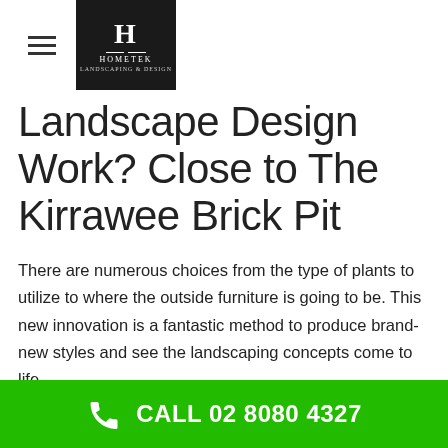HOMETEK
Landscape Design Work? Close to The Kirrawee Brick Pit
There are numerous choices from the type of plants to utilize to where the outside furniture is going to be. This new innovation is a fantastic method to produce brand-new styles and see the landscaping concepts come to life.
Are there above ground stuctural aspects I require to be concerned with for my exterior landscape? Do I have a spending plan and is it realistic? There are lots
CALL 02 8080 4327